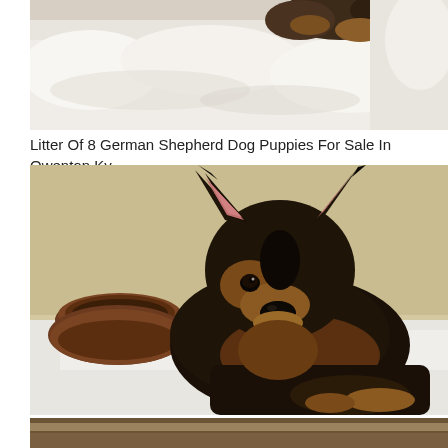[Figure (photo): Top portion of a photo showing German Shepherd puppies on a white fluffy blanket, cropped at the bottom]
Litter Of 8 German Shepherd Dog Puppies For Sale In Owenton Ky
[Figure (photo): A young German Shepherd puppy with large upright ears, black and tan coloring, sitting next to a brown plastic food bowl on a white surface, looking at the camera]
[Figure (photo): Bottom strip of another photo, partially visible]